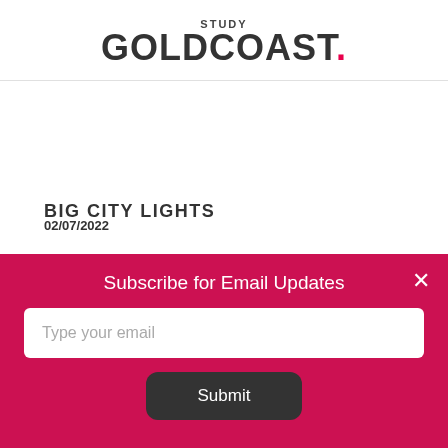STUDY GOLDCOAST.
BIG CITY LIGHTS
02/07/2022
Subscribe for Email Updates
Type your email
Submit